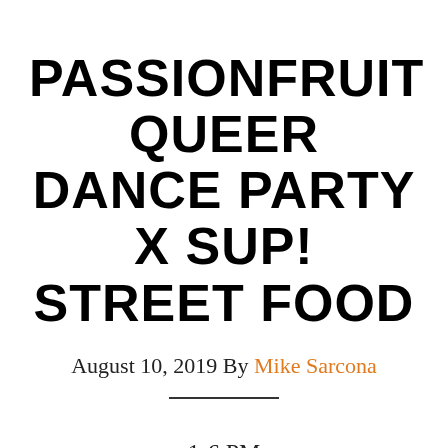PASSIONFRUIT QUEER DANCE PARTY X SUP! STREET FOOD
August 10, 2019 By Mike Sarcona
1-6 PM
Vinyl DJs, Southeast Asian Street Food, vendors and artists!